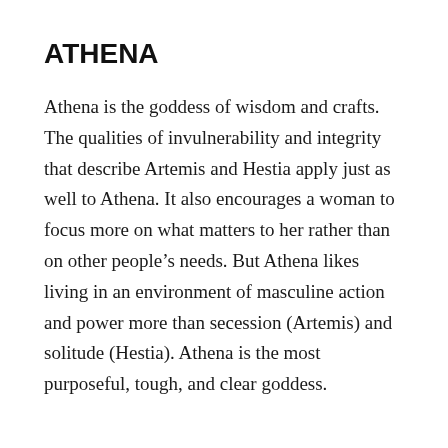ATHENA
Athena is the goddess of wisdom and crafts. The qualities of invulnerability and integrity that describe Artemis and Hestia apply just as well to Athena. It also encourages a woman to focus more on what matters to her rather than on other people’s needs. But Athena likes living in an environment of masculine action and power more than secession (Artemis) and solitude (Hestia). Athena is the most purposeful, tough, and clear goddess.